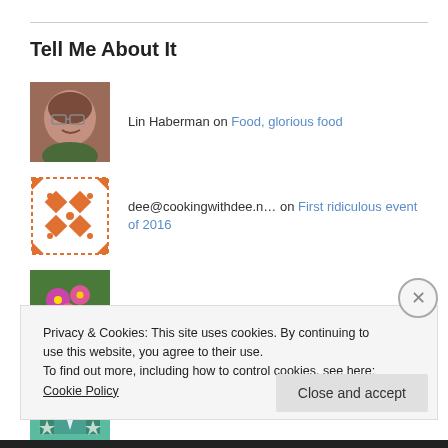Tell Me About It
Lin Haberman on Food, glorious food
dee@cookingwithdee.n… on First ridiculous event of 2016
WritingbyEar on Anyone there? Over, over.
Anonymous on Anyone there? Over, over.
Privacy & Cookies: This site uses cookies. By continuing to use this website, you agree to their use. To find out more, including how to control cookies, see here: Cookie Policy
Close and accept